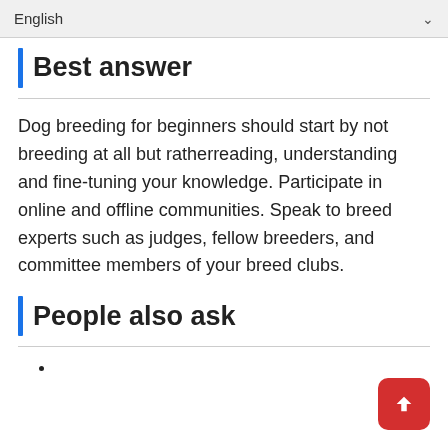English
Best answer
Dog breeding for beginners should start by not breeding at all but ratherreading, understanding and fine-tuning your knowledge. Participate in online and offline communities. Speak to breed experts such as judges, fellow breeders, and committee members of your breed clubs.
People also ask